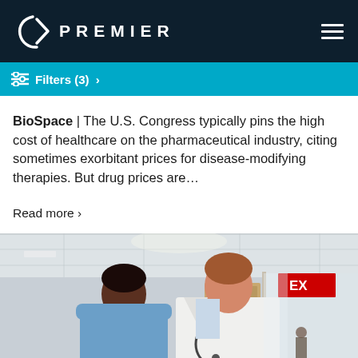PREMIER
Filters (3) >
BioSpace | The U.S. Congress typically pins the high cost of healthcare on the pharmaceutical industry, citing sometimes exorbitant prices for disease-modifying therapies. But drug prices are...
Read more >
[Figure (photo): Two healthcare professionals, one in scrubs and one in a white coat with a stethoscope, looking at something together in a hospital hallway with an EXIT sign visible.]